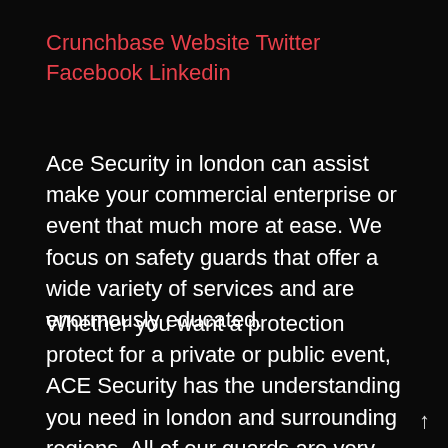Crunchbase Website Twitter Facebook Linkedin
Ace Security in london can assist make your commercial enterprise or event that much more at ease. We focus on safety guards that offer a wide variety of services and are enormously educated.
Whether you want a protection protect for a private or public event, ACE Security has the understanding you need in london and surrounding regions. All of our guards are very well vetted to make certain they've the proper training and revel in to hold you safe.